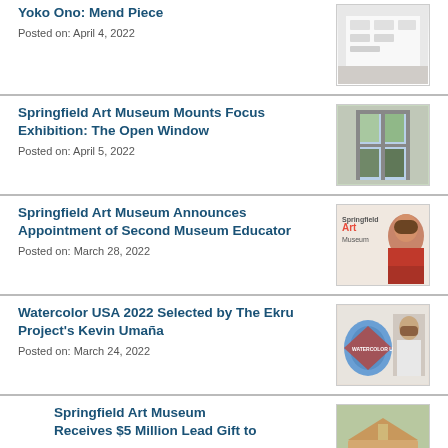Yoko Ono: Mend Piece
Posted on: April 4, 2022
[Figure (photo): White room interior with minimal objects on shelves]
Springfield Art Museum Mounts Focus Exhibition: The Open Window
Posted on: April 5, 2022
[Figure (photo): Open window with view of trees]
Springfield Art Museum Announces Appointment of Second Museum Educator
Posted on: March 28, 2022
[Figure (photo): Springfield Art Museum logo with photo of a woman with glasses]
Watercolor USA 2022 Selected by The Ekru Project's Kevin Umaña
Posted on: March 24, 2022
[Figure (photo): Springfield Art Museum Watercolor USA badge with a man standing next to artwork]
Springfield Art Museum Receives $5 Million Lead Gift to
[Figure (photo): Exterior of a building with green surroundings]